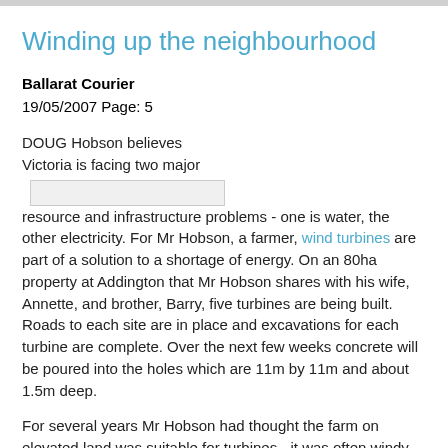Winding up the neighbourhood
Ballarat Courier
19/05/2007 Page: 5
[Figure (photo): Placeholder image box for photo associated with the article]
DOUG Hobson believes Victoria is facing two major resource and infrastructure problems - one is water, the other electricity. For Mr Hobson, a farmer, wind turbines are part of a solution to a shortage of energy. On an 80ha property at Addington that Mr Hobson shares with his wife, Annette, and brother, Barry, five turbines are being built. Roads to each site are in place and excavations for each turbine are complete. Over the next few weeks concrete will be poured into the holes which are 11m by 11m and about 1.5m deep.
For several years Mr Hobson had thought the farm on elevated land was suitable for turbines - it was often windy on the hilly land but calm at his home at nearby